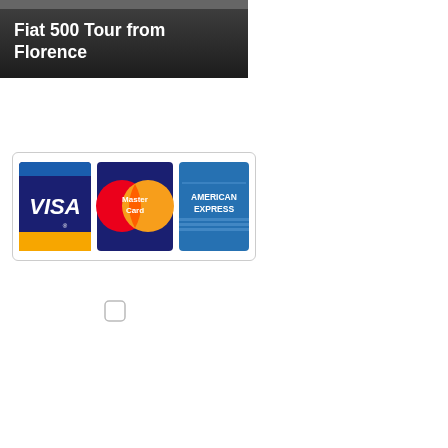Fiat 500 Tour from Florence
[Figure (logo): Payment methods logo showing VISA, MasterCard, and American Express cards]
[Figure (other): Empty rounded square checkbox/icon]